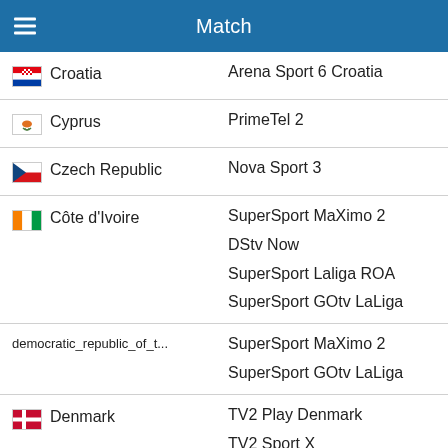Match
| Country | Channel |
| --- | --- |
| Croatia | Arena Sport 6 Croatia |
| Cyprus | PrimeTel 2 |
| Czech Republic | Nova Sport 3 |
| Côte d'Ivoire | SuperSport MaXimo 2 / DStv Now / SuperSport Laliga ROA / SuperSport GOtv LaLiga |
| democratic_republic_of_t... | SuperSport MaXimo 2 / SuperSport GOtv LaLiga |
| Denmark | TV2 Play Denmark / TV2 Sport X |
| Djibouti | SuperSport MaXimo 2 / beIN Sports HD 1 / beIN Sports Premium 1 |